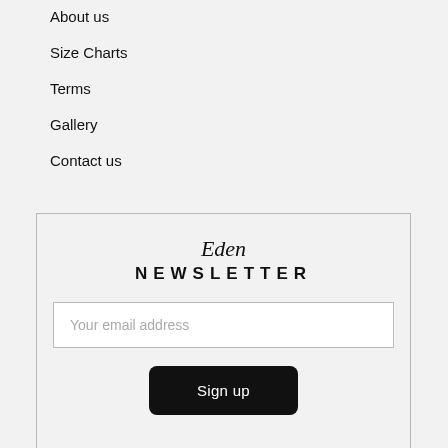About us
Size Charts
Terms
Gallery
Contact us
Eden NEWSLETTER
Your email address
Sign up